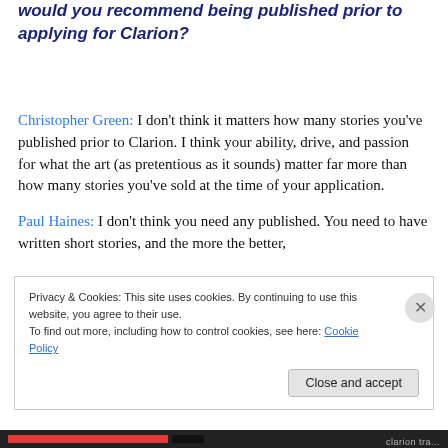This week's question: How many short stories would you recommend being published prior to applying for Clarion?
Christopher Green: I don't think it matters how many stories you've published prior to Clarion. I think your ability, drive, and passion for what the art (as pretentious as it sounds) matter far more than how many stories you've sold at the time of your application.
Paul Haines: I don't think you need any published. You need to have written short stories, and the more the better,
Privacy & Cookies: This site uses cookies. By continuing to use this website, you agree to their use.
To find out more, including how to control cookies, see here: Cookie Policy
Close and accept